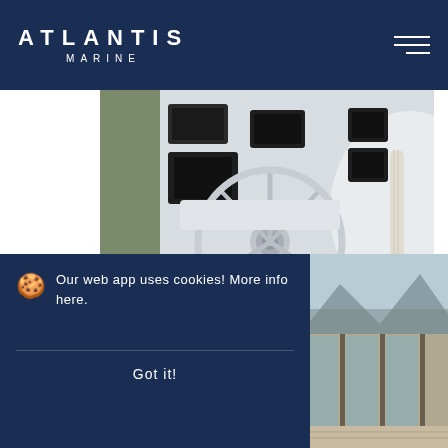ATLANTIS MARINE
[Figure (photo): Close-up photo of a boat steering wheel with polished stainless steel spokes and navigation instruments/screens in the background]
PATA GAO
Safety and reliability for ocean crossing.
Our web app uses cookies! More info here.
Got it!
[Figure (photo): Partial photo of a boat interior or dock area with landscape visible in background]